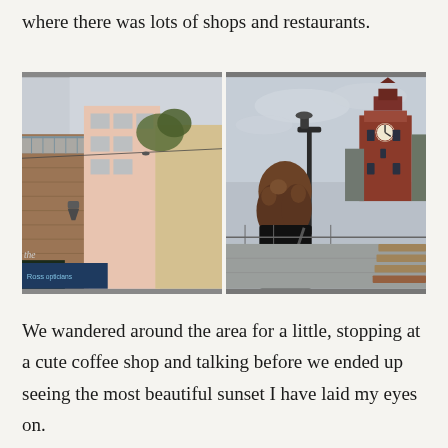where there was lots of shops and restaurants.
[Figure (photo): Two side-by-side photos. Left: upward-looking view of urban street with multi-storey buildings, glass balconies, brick facade, trees, overcast sky, green neon light and Ross opticians sign at bottom. Right: person with long curly hair in black jacket seen from behind, facing a waterfront promenade with a lamp post and a large red-brick clock tower building under grey sky.]
We wandered around the area for a little, stopping at a cute coffee shop and talking before we ended up seeing the most beautiful sunset I have laid my eyes on.